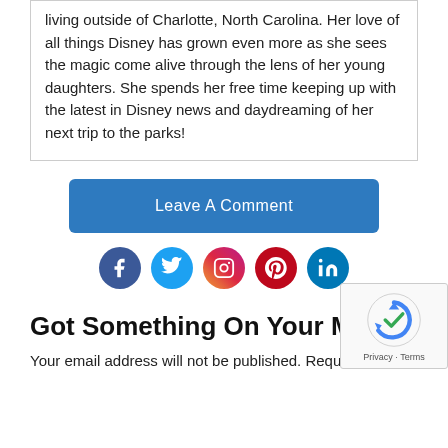living outside of Charlotte, North Carolina. Her love of all things Disney has grown even more as she sees the magic come alive through the lens of her young daughters. She spends her free time keeping up with the latest in Disney news and daydreaming of her next trip to the parks!
Leave A Comment
[Figure (infographic): Row of five social media icon circles: Facebook (dark blue, f), Twitter (light blue, bird), Instagram (gradient, camera), Pinterest (red, P), LinkedIn (blue, in)]
Got Something On Your Mind?
Your email address will not be published. Required